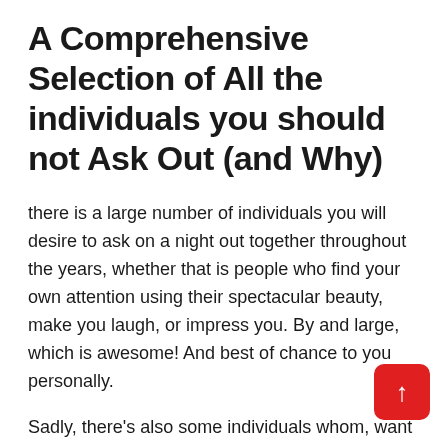A Comprehensive Selection of All the individuals you should not Ask Out (and Why)
there is a large number of individuals you will desire to ask on a night out together throughout the years, whether that is people who find your own attention using their spectacular beauty, make you laugh, or impress you. By and large, which is awesome! And best of chance to you personally.
Sadly, there's also some individuals whom, want it or otherwise not, you merely shouldn't ask around or reveal your feelings to. Many dudes understand this implicitly, but the concern of whom, precisely, men and women tend to be is oftentimes up for discussion. If it isn't